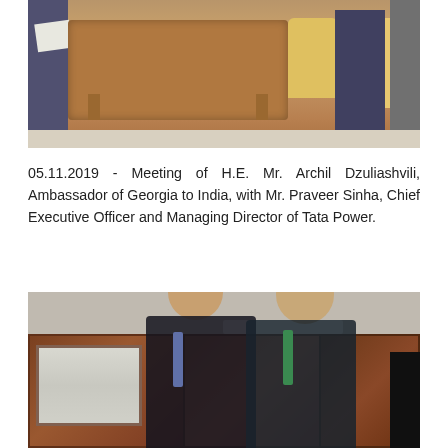[Figure (photo): Photo of a meeting room with a large wooden desk, yellow chairs, and people seated/standing on either side of the desk.]
05.11.2019 - Meeting of H.E. Mr. Archil Dzuliashvili, Ambassador of Georgia to India, with Mr. Praveer Sinha, Chief Executive Officer and Managing Director of Tata Power.
[Figure (photo): Photo of two men in suits shaking hands or posing together in an office with wooden paneling. A black-and-white photo is visible on the wall behind them.]